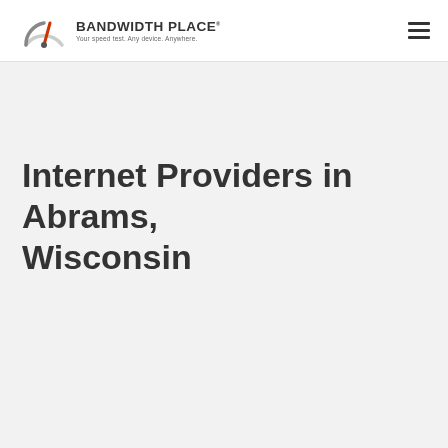BANDWIDTH PLACE — Your speed test. Any device. Anywhere.
Internet Providers in Abrams, Wisconsin